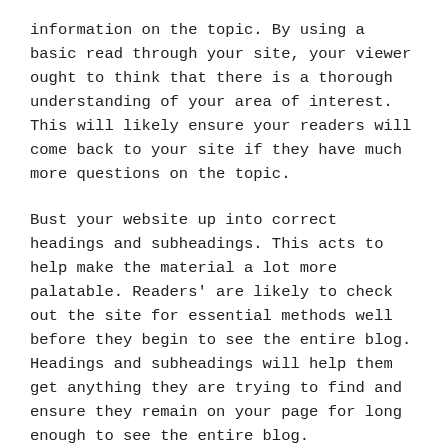information on the topic. By using a basic read through your site, your viewer ought to think that there is a thorough understanding of your area of interest. This will likely ensure your readers will come back to your site if they have much more questions on the topic.
Bust your website up into correct headings and subheadings. This acts to help make the material a lot more palatable. Readers' are likely to check out the site for essential methods well before they begin to see the entire blog. Headings and subheadings will help them get anything they are trying to find and ensure they remain on your page for long enough to see the entire blog.
Steer your readers through the content...